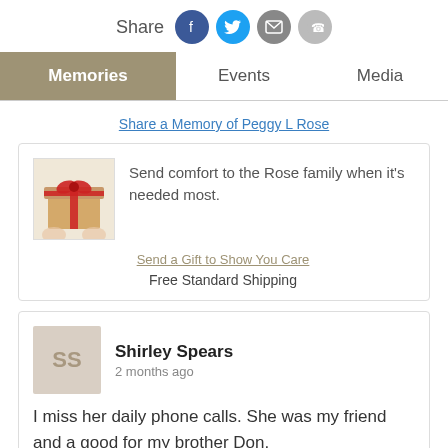[Figure (infographic): Share label with four social media circle icons: Facebook (blue), Twitter (cyan), Email (gray), Phone (light gray)]
Memories | Events | Media
Share a Memory of Peggy L Rose
[Figure (photo): Small image of hands holding a wrapped gift with red ribbon]
Send comfort to the Rose family when it's needed most.
Send a Gift to Show You Care
Free Standard Shipping
[Figure (other): Avatar with initials SS for Shirley Spears]
Shirley Spears
2 months ago
I miss her daily phone calls. She was my friend and a good for my brother Don.